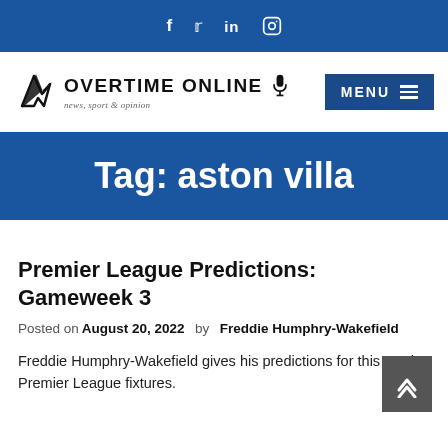f  y  in  (instagram icon)
[Figure (logo): Overtime Online logo with arrow/lightning bolt icon and microphone icon, text: OVERTIME ONLINE, news, sport & opinion]
MENU
Tag: aston villa
Premier League Predictions: Gameweek 3
Posted on August 20, 2022  by  Freddie Humphry-Wakefield
Freddie Humphry-Wakefield gives his predictions for this week's Premier League fixtures.